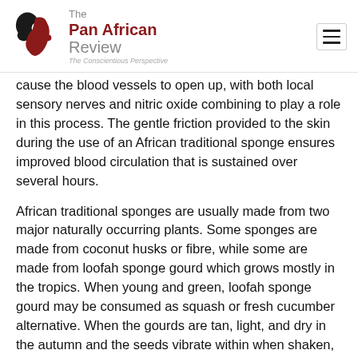The Pan African Review — The Conscientious Perspective
cause the blood vessels to open up, with both local sensory nerves and nitric oxide combining to play a role in this process. The gentle friction provided to the skin during the use of an African traditional sponge ensures improved blood circulation that is sustained over several hours.
African traditional sponges are usually made from two major naturally occurring plants. Some sponges are made from coconut husks or fibre, while some are made from loofah sponge gourd which grows mostly in the tropics. When young and green, loofah sponge gourd may be consumed as squash or fresh cucumber alternative. When the gourds are tan, light, and dry in the autumn and the seeds vibrate within when shaken, mature loofah may be